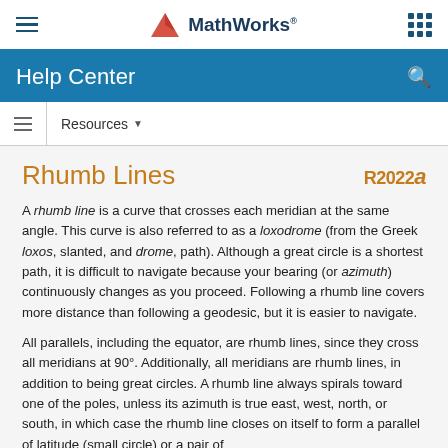MathWorks Help Center
Resources
Rhumb Lines
A rhumb line is a curve that crosses each meridian at the same angle. This curve is also referred to as a loxodrome (from the Greek loxos, slanted, and drome, path). Although a great circle is a shortest path, it is difficult to navigate because your bearing (or azimuth) continuously changes as you proceed. Following a rhumb line covers more distance than following a geodesic, but it is easier to navigate.
All parallels, including the equator, are rhumb lines, since they cross all meridians at 90°. Additionally, all meridians are rhumb lines, in addition to being great circles. A rhumb line always spirals toward one of the poles, unless its azimuth is true east, west, north, or south, in which case the rhumb line closes on itself to form a parallel of latitude (small circle) or a pair of